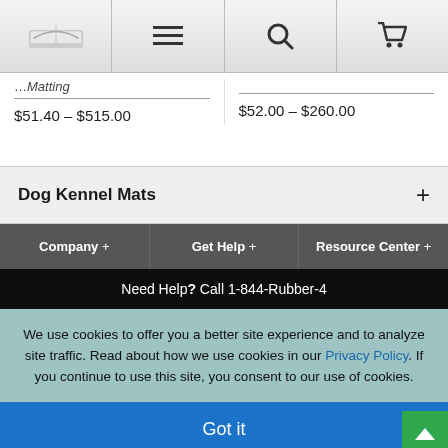Navigation bar with logo, menu, search, and cart icons
Matting
$51.40 – $515.00
$52.00 – $260.00
Dog Kennel Mats +
Company + | Get Help + | Resource Center +
Need Help? Call 1-844-Rubber-4
We use cookies to offer you a better site experience and to analyze site traffic. Read about how we use cookies in our Privacy Policy. If you continue to use this site, you consent to our use of cookies.
Got it